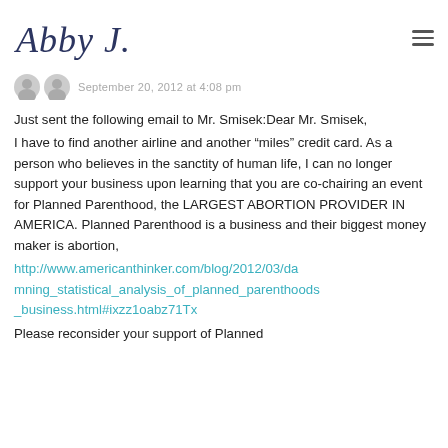Abby J.
September 20, 2012 at 4:08 pm
Just sent the following email to Mr. Smisek:Dear Mr. Smisek,
I have to find another airline and another “miles” credit card. As a person who believes in the sanctity of human life, I can no longer support your business upon learning that you are co-chairing an event for Planned Parenthood, the LARGEST ABORTION PROVIDER IN AMERICA. Planned Parenthood is a business and their biggest money maker is abortion,
http://www.americanthinker.com/blog/2012/03/damning_statistical_analysis_of_planned_parenthoods_business.html#ixzz1oabz71Tx
Please reconsider your support of Planned